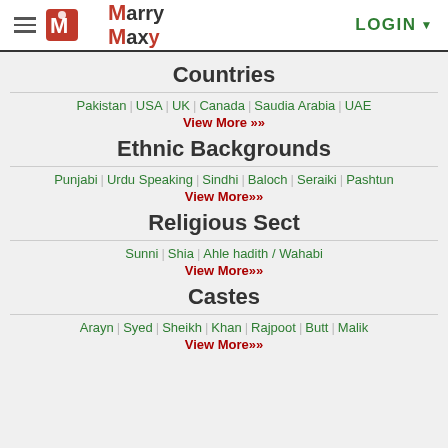MarryMaxy | LOGIN
Countries
Pakistan | USA | UK | Canada | Saudia Arabia | UAE
View More »»
Ethnic Backgrounds
Punjabi | Urdu Speaking | Sindhi | Baloch | Seraiki | Pashtun
View More»»
Religious Sect
Sunni | Shia | Ahle hadith / Wahabi
View More»»
Castes
Arayn | Syed | Sheikh | Khan | Rajpoot | Butt | Malik
View More»»